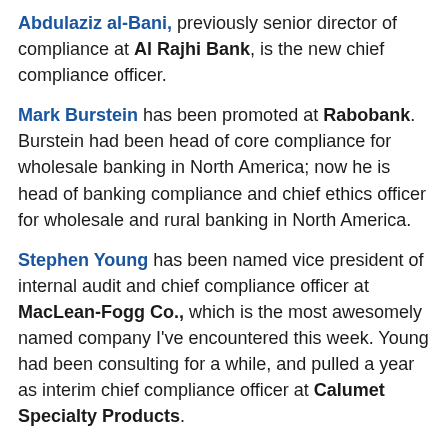Abdulaziz al-Bani, previously senior director of compliance at Al Rajhi Bank, is the new chief compliance officer.
Mark Burstein has been promoted at Rabobank. Burstein had been head of core compliance for wholesale banking in North America; now he is head of banking compliance and chief ethics officer for wholesale and rural banking in North America.
Stephen Young has been named vice president of internal audit and chief compliance officer at MacLean-Fogg Co., which is the most awesomely named company I've encountered this week. Young had been consulting for a while, and pulled a year as interim chief compliance officer at Calumet Specialty Products.
Remember John Roth, the long-time regulatory enforcement hand who left public service last week? He is now chief ethics and compliance officer at Bittrex.com, a digital currency exchange. We appreciate the prompt updating of his LinkedIn profile.
Medtronic has named Rob Schryver director of global trade